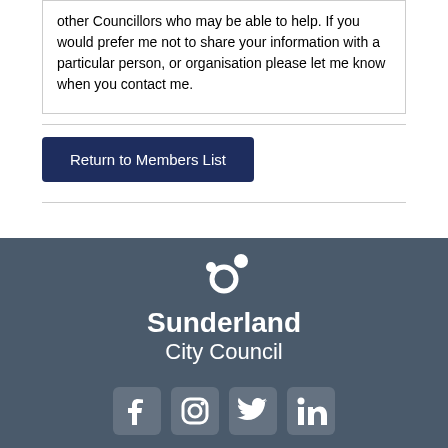other Councillors who may be able to help. If you would prefer me not to share your information with a particular person, or organisation please let me know when you contact me.
Return to Members List
[Figure (logo): Sunderland City Council logo with circular orbit icon in white on dark blue-grey background, with social media icons (Facebook, Instagram, Twitter, LinkedIn) below]